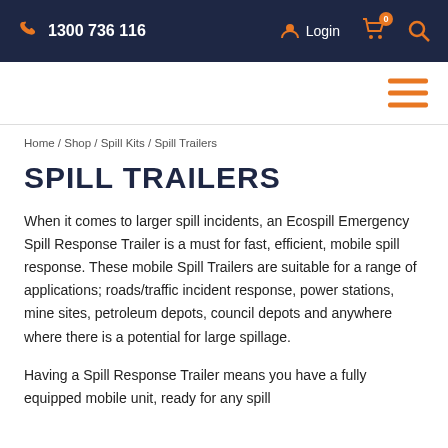1300 736 116   Login   0
Home / Shop / Spill Kits / Spill Trailers
SPILL TRAILERS
When it comes to larger spill incidents, an Ecospill Emergency Spill Response Trailer is a must for fast, efficient, mobile spill response. These mobile Spill Trailers are suitable for a range of applications; roads/traffic incident response, power stations, mine sites, petroleum depots, council depots and anywhere where there is a potential for large spillage.
Having a Spill Response Trailer means you have a fully equipped mobile unit, ready for any spill